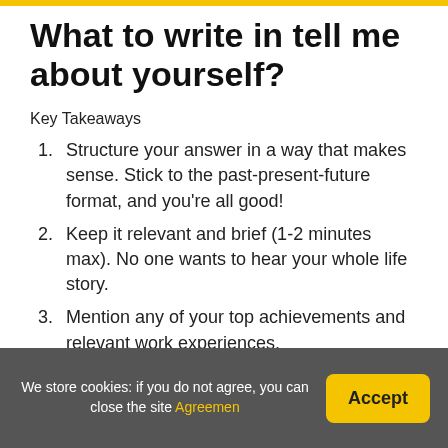What to write in tell me about yourself?
Key Takeaways
Structure your answer in a way that makes sense. Stick to the past-present-future format, and you’re all good!
Keep it relevant and brief (1-2 minutes max). No one wants to hear your whole life story.
Mention any of your top achievements and relevant work experiences.
What are 5 words to describe
We store cookies: if you do not agree, you can close the site Agreement